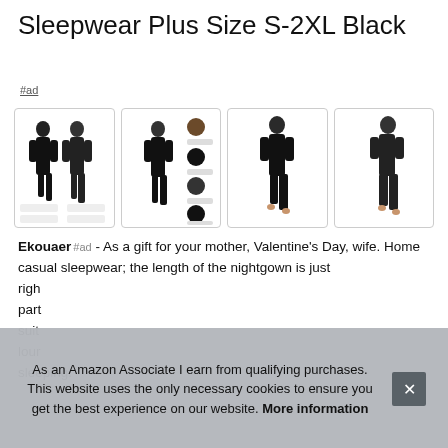Sleepwear Plus Size S-2XL Black
#ad
[Figure (photo): Four product photos of a black nightgown/sleepwear dress modeled by a woman, showing front/back views and feature callouts including 'Silky Smooth', 'Lightweight', 'Suitable for All Season', 'Great Price', 'V-neck Nightgown', 'Short Sleeves Fit for all season', 'High-low hem unique design', 'Loved fabric lightweight and skin friendly']
Ekouaer #ad - As a gift for your mother, Valentine's Day, wife. Home casual sleepwear; the length of the nightgown is just right... part... suit... lour... sleeping.
As an Amazon Associate I earn from qualifying purchases. This website uses the only necessary cookies to ensure you get the best experience on our website. More information